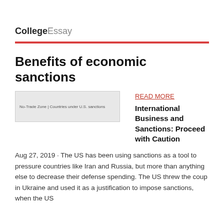CollegeEssay
Benefits of economic sanctions
[Figure (screenshot): No-Trade Zone | Countries under U.S. sanctions banner image]
READ MORE
International Business and Sanctions: Proceed with Caution
Aug 27, 2019 · The US has been using sanctions as a tool to pressure countries like Iran and Russia, but more than anything else to decrease their defense spending. The US threw the coup in Ukraine and used it as a justification to impose sanctions, when the US